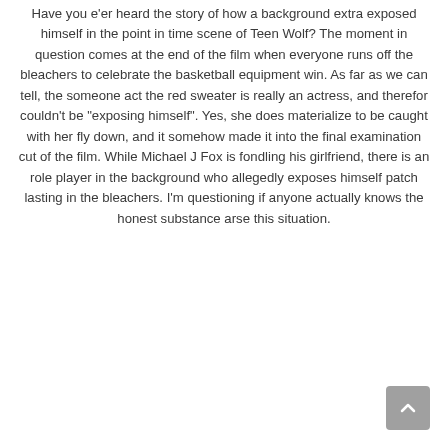Have you e'er heard the story of how a background extra exposed himself in the point in time scene of Teen Wolf? The moment in question comes at the end of the film when everyone runs off the bleachers to celebrate the basketball equipment win. As far as we can tell, the someone act the red sweater is really an actress, and therefor couldn't be "exposing himself". Yes, she does materialize to be caught with her fly down, and it somehow made it into the final examination cut of the film. While Michael J Fox is fondling his girlfriend, there is an role player in the background who allegedly exposes himself patch lasting in the bleachers. I'm questioning if anyone actually knows the honest substance arse this situation.